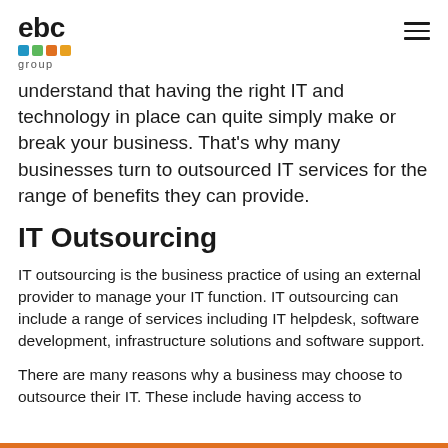ebc group
understand that having the right IT and technology in place can quite simply make or break your business. That's why many businesses turn to outsourced IT services for the range of benefits they can provide.
IT Outsourcing
IT outsourcing is the business practice of using an external provider to manage your IT function. IT outsourcing can include a range of services including IT helpdesk, software development, infrastructure solutions and software support.
There are many reasons why a business may choose to outsource their IT. These include having access to